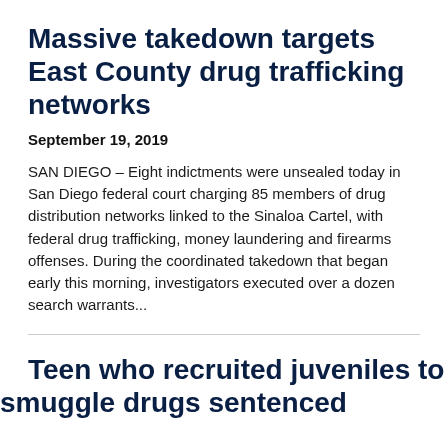Massive takedown targets East County drug trafficking networks
September 19, 2019
SAN DIEGO – Eight indictments were unsealed today in San Diego federal court charging 85 members of drug distribution networks linked to the Sinaloa Cartel, with federal drug trafficking, money laundering and firearms offenses. During the coordinated takedown that began early this morning, investigators executed over a dozen search warrants...
Teen who recruited juveniles to smuggle drugs sentenced to 12 months in custody